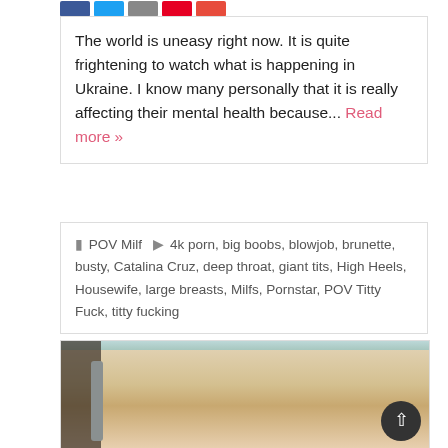The world is uneasy right now. It is quite frightening to watch what is happening in Ukraine. I know many personally that it is really affecting their mental health because... Read more »
POV Milf   4k porn, big boobs, blowjob, brunette, busty, Catalina Cruz, deep throat, giant tits, High Heels, Housewife, large breasts, Milfs, Pornstar, POV Titty Fuck, titty fucking
[Figure (photo): A woman posing indoors near white columns and a door, with dark hair.]